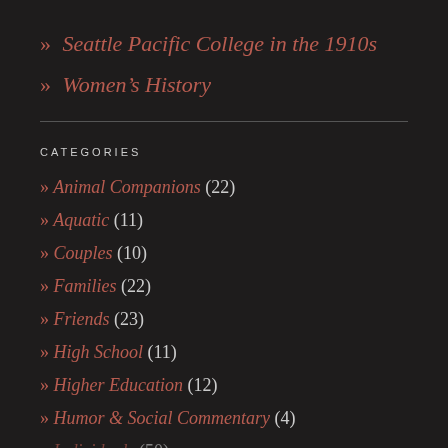» Seattle Pacific College in the 1910s
» Women's History
CATEGORIES
» Animal Companions (22)
» Aquatic (11)
» Couples (10)
» Families (22)
» Friends (23)
» High School (11)
» Higher Education (12)
» Humor & Social Commentary (4)
» Individuals (50)